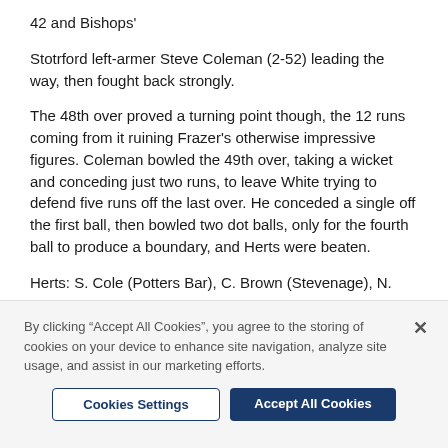42 and Bishops'
Stotrford left-armer Steve Coleman (2-52) leading the way, then fought back strongly.
The 48th over proved a turning point though, the 12 runs coming from it ruining Frazer's otherwise impressive figures. Coleman bowled the 49th over, taking a wicket and conceding just two runs, to leave White trying to defend five runs off the last over. He conceded a single off the first ball, then bowled two dot balls, only for the fourth ball to produce a boundary, and Herts were beaten.
Herts: S. Cole (Potters Bar), C. Brown (Stevenage), N.
By clicking “Accept All Cookies”, you agree to the storing of cookies on your device to enhance site navigation, analyze site usage, and assist in our marketing efforts.
Cookies Settings
Accept All Cookies